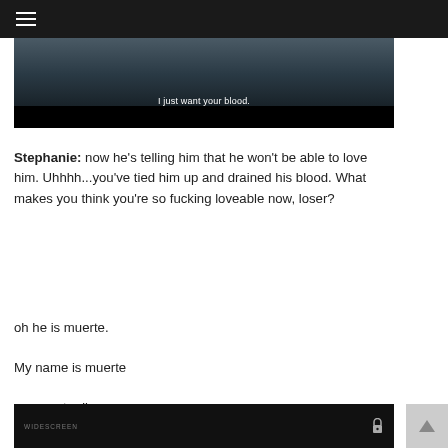≡
[Figure (screenshot): Dark video still with subtitle text reading 'I just want your blood.' over a dark scene]
Stephanie: now he's telling him that he won't be able to love him. Uhhhh...you've tied him up and drained his blood. What makes you think you're so fucking loveable now, loser?
oh he is muerte.
My name is muerte
prepare to die
[Figure (screenshot): Dark video player bottom bar with lock icon]